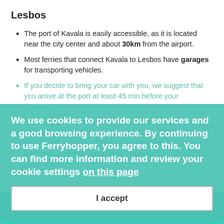Useful tips for your ferry trip from Kavala to Lesbos
The port of Kavala is easily accessible, as it is located near the city center and about 30km from the airport.
Most ferries that connect Kavala to Lesbos have garages for transporting vehicles.
If you decide to bring your car with you, we suggest that you arrive at the port at least 45 min before your departure.
The main port of Lesbos, Mytilene is connected by ferry to many Aegean destinations such as Chios, Samos, Ikaria and Ayvalik in Turkey. Check our interactive map to find more and organize your island hopping from Lesbos in just a few clicks!
We use cookies to provide our services and a good browsing experience. By continuing to use Ferryhopper, you agree to this. You can find more information and review your cookie settings on this page
I accept
Book your ferry tickets >